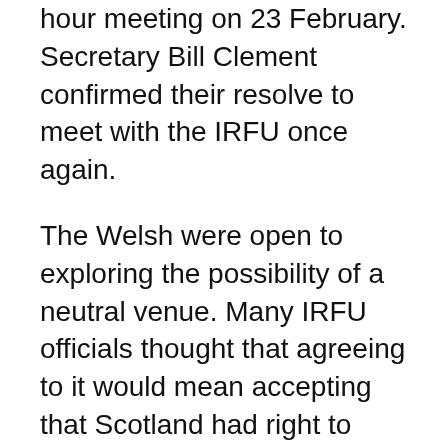hour meeting on 23 February. Secretary Bill Clement confirmed their resolve to meet with the IRFU once again.
The Welsh were open to exploring the possibility of a neutral venue. Many IRFU officials thought that agreeing to it would mean accepting that Scotland had right to stop playing at Lansdowne Road.
Wales decided not to fulfill the fixture following a meeting between WRU and IRFU on February 27th. The hope of another Welsh Triple Crown or Grand Slam was dashed. Ireland also missed out on the championship glory.
McBride said that the mood was horrible.